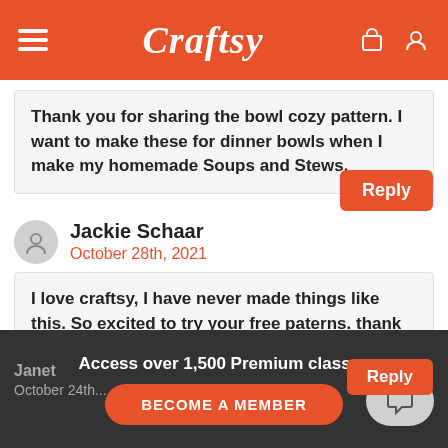Craftsy
Thank you for sharing the bowl cozy pattern. I want to make these for dinner bowls when I make my homemade Soups and Stews.
Jackie Schaar
October 28th, 2021
I love craftsy, I have never made things like this. So excited to try your free paterns. thank you
Access over 1,500 Premium classes
BECOME A MEMBER